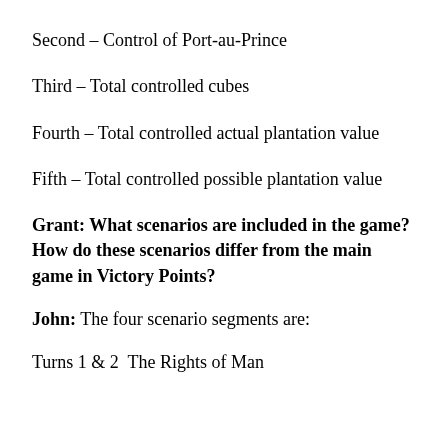Second – Control of Port-au-Prince
Third – Total controlled cubes
Fourth – Total controlled actual plantation value
Fifth – Total controlled possible plantation value
Grant: What scenarios are included in the game? How do these scenarios differ from the main game in Victory Points?
John: The four scenario segments are:
Turns 1 & 2  The Rights of Man